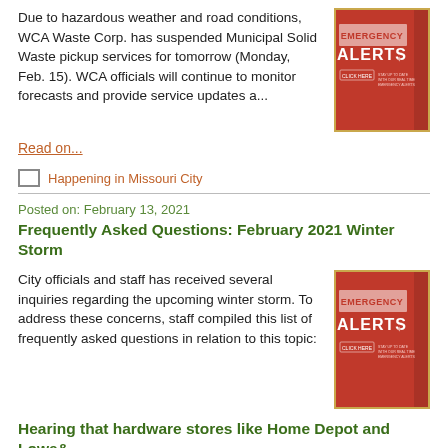Due to hazardous weather and road conditions, WCA Waste Corp. has suspended Municipal Solid Waste pickup services for tomorrow (Monday, Feb. 15). WCA officials will continue to monitor forecasts and provide service updates a...
[Figure (illustration): Emergency Alerts banner - red background with text EMERGENCY ALERTS, CLICK HERE, STAY UP TO DATE WITH OUR REAL TIME EMERGENCY ALERTS, LATEST COMMUNITY NEWS]
Read on...
Happening in Missouri City
Posted on: February 13, 2021
Frequently Asked Questions: February 2021 Winter Storm
City officials and staff has received several inquiries regarding the upcoming winter storm. To address these concerns, staff compiled this list of frequently asked questions in relation to this topic:
[Figure (illustration): Emergency Alerts banner - red background with text EMERGENCY ALERTS, CLICK HERE, STAY UP TO DATE WITH OUR REAL TIME EMERGENCY ALERTS, LATEST COMMUNITY NEWS]
Hearing that hardware stores like Home Depot and Lowe&...